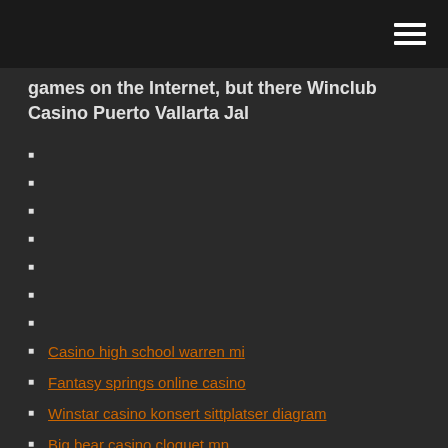games on the Internet, but there Winclub Casino Puerto Vallarta Jal
Casino high school warren mi
Fantasy springs online casino
Winstar casino konsert sittplatser diagram
Big bear casino cloquet mn
Casino gratis ingen insättningsbonus 2021